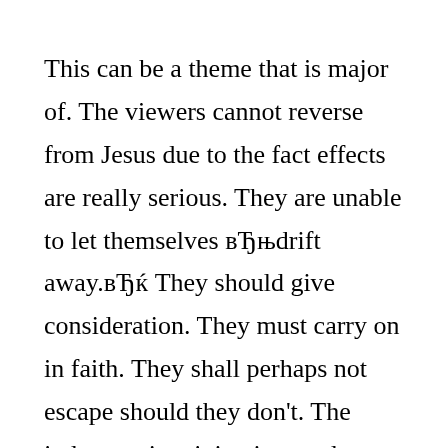This can be a theme that is major of. The viewers cannot reverse from Jesus due to the fact effects are really serious. They are unable to let themselves вЂњdrift away.вЂќ They should give consideration. They must carry on in faith. They shall perhaps not escape should they don't. The judgment is originating, and salvation is just feasible through Christ.

Jesus even offers provided them every reason